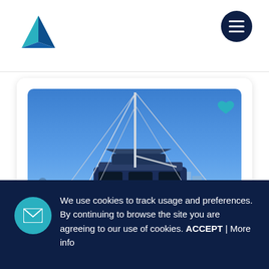[Figure (logo): Sailboat triangle logo in teal/blue gradient]
[Figure (other): Dark navy circular hamburger menu button with three horizontal white lines]
[Figure (photo): Photo of a large blue catamaran sailboat on calm water with city waterfront in background under clear blue sky. A teal heart icon is overlaid in top-right corner of the photo.]
We use cookies to track usage and preferences. By continuing to browse the site you are agreeing to our use of cookies. ACCEPT | More info